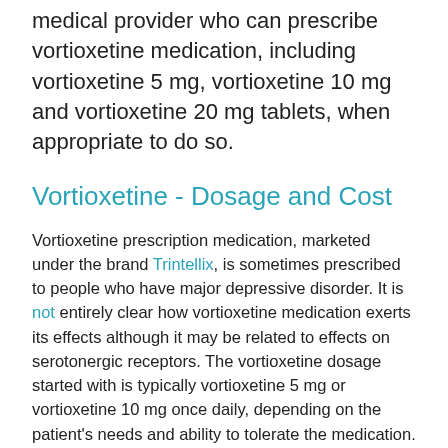medical provider who can prescribe vortioxetine medication, including vortioxetine 5 mg, vortioxetine 10 mg and vortioxetine 20 mg tablets, when appropriate to do so.
Vortioxetine - Dosage and Cost
Vortioxetine prescription medication, marketed under the brand Trintellix, is sometimes prescribed to people who have major depressive disorder. It is not entirely clear how vortioxetine medication exerts its effects although it may be related to effects on serotonergic receptors. The vortioxetine dosage started with is typically vortioxetine 5 mg or vortioxetine 10 mg once daily, depending on the patient's needs and ability to tolerate the medication. Generic vortioxetine medication is not available currently and branded vortioxetine tablets are expensive, costing approximately $14 per vortioxetine 10 mg tablet at many pharmacies. While vortioxetine coupons are available online, it is generally recommended that patients check for insurance coverage when buying vortioxetine prescription tablets at the pharmacy to help reduce any out-of-pocket costs.